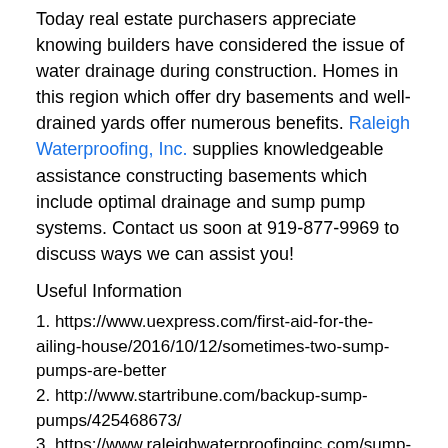Today real estate purchasers appreciate knowing builders have considered the issue of water drainage during construction. Homes in this region which offer dry basements and well-drained yards offer numerous benefits. Raleigh Waterproofing, Inc. supplies knowledgeable assistance constructing basements which include optimal drainage and sump pump systems. Contact us soon at 919-877-9969 to discuss ways we can assist you!
Useful Information
1. https://www.uexpress.com/first-aid-for-the-ailing-house/2016/10/12/sometimes-two-sump-pumps-are-better
2. http://www.startribune.com/backup-sump-pumps/425468673/
3. https://www.raleighwaterproofinginc.com/sump-stations.html
SOCIAL NETWORK